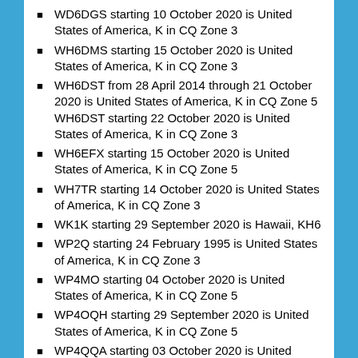WD6DGS starting 10 October 2020 is United States of America, K in CQ Zone 3
WH6DMS starting 15 October 2020 is United States of America, K in CQ Zone 3
WH6DST from 28 April 2014 through 21 October 2020 is United States of America, K in CQ Zone 5 WH6DST starting 22 October 2020 is United States of America, K in CQ Zone 3
WH6EFX starting 15 October 2020 is United States of America, K in CQ Zone 5
WH7TR starting 14 October 2020 is United States of America, K in CQ Zone 3
WK1K starting 29 September 2020 is Hawaii, KH6
WP2Q starting 24 February 1995 is United States of America, K in CQ Zone 3
WP4MO starting 04 October 2020 is United States of America, K in CQ Zone 5
WP4OQH starting 29 September 2020 is United States of America, K in CQ Zone 5
WP4QQA starting 03 October 2020 is United States of America, K in CQ Zone 3